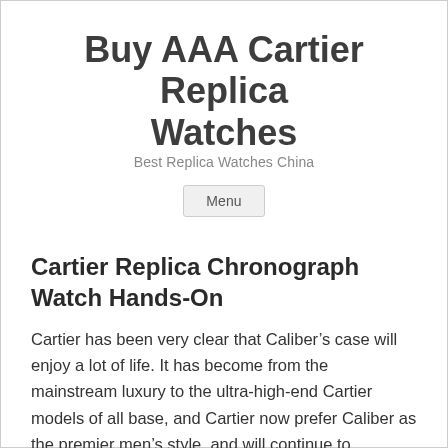Buy AAA Cartier Replica Watches
Best Replica Watches China
Menu
Cartier Replica Chronograph Watch Hands-On
Cartier has been very clear that Caliber’s case will enjoy a lot of life. It has become from the mainstream luxury to the ultra-high-end Cartier models of all base, and Cartier now prefer Caliber as the premier men’s style, and will continue to maintain the future. One of my personal favorite moves